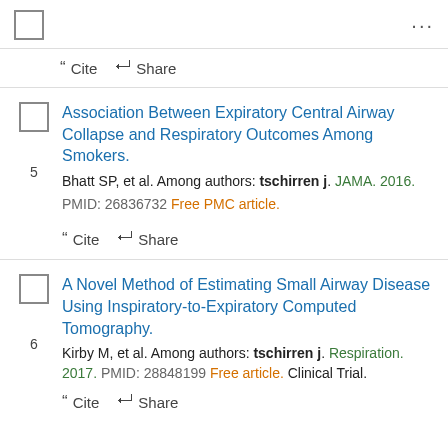[Figure (screenshot): Checkbox and three-dot menu top bar]
Cite   Share
5. Association Between Expiratory Central Airway Collapse and Respiratory Outcomes Among Smokers. Bhatt SP, et al. Among authors: tschirren j. JAMA. 2016. PMID: 26836732 Free PMC article.
Cite   Share
6. A Novel Method of Estimating Small Airway Disease Using Inspiratory-to-Expiratory Computed Tomography. Kirby M, et al. Among authors: tschirren j. Respiration. 2017. PMID: 28848199 Free article. Clinical Trial.
Cite   Share